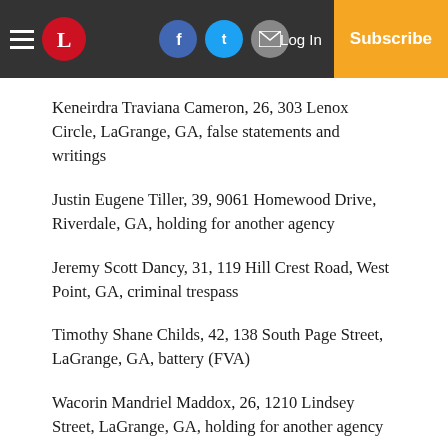Newspaper navigation bar with logo, social links, Log In, and Subscribe
Keneirdra Traviana Cameron, 26, 303 Lenox Circle, LaGrange, GA, false statements and writings
Justin Eugene Tiller, 39, 9061 Homewood Drive, Riverdale, GA, holding for another agency
Jeremy Scott Dancy, 31, 119 Hill Crest Road, West Point, GA, criminal trespass
Timothy Shane Childs, 42, 138 South Page Street, LaGrange, GA, battery (FVA)
Wacorin Mandriel Maddox, 26, 1210 Lindsey Street, LaGrange, GA, holding for another agency